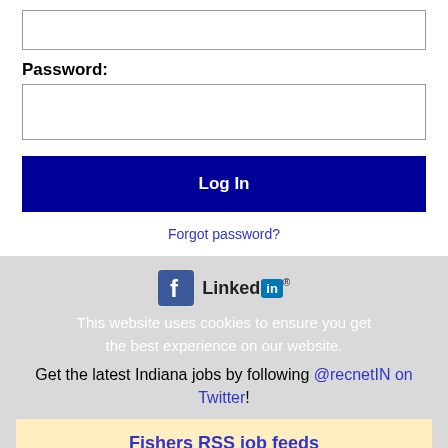[Figure (screenshot): Empty text input box at the top of the login form]
Password:
[Figure (screenshot): Empty password input box]
Log In
Forgot password?
[Figure (logo): Facebook and LinkedIn social media icons]
This website uses cookies to ensure you get the best experience on our website.
Get the latest Indiana jobs by following @recnetIN on Twitter!
Fishers RSS job feeds